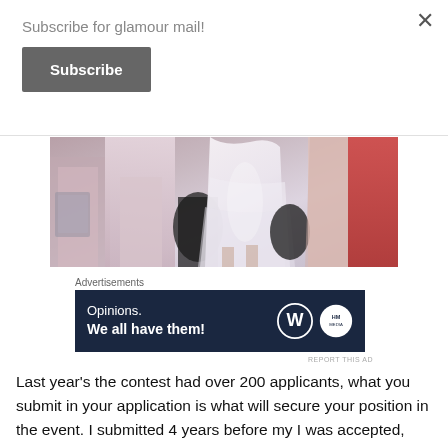×
Subscribe for glamour mail!
Subscribe
[Figure (photo): Partial view of people in formal dresses, including what appears to be a white bridal gown or tulle skirt, photographed from the waist down]
Advertisements
[Figure (other): Dark navy advertisement banner reading 'Opinions. We all have them!' with WordPress logo and another circular logo]
REPORT THIS AD
Last year's the contest had over 200 applicants, what you submit in your application is what will secure your position in the event. I submitted 4 years before my I was accepted, and through this process I learnt a few tips that will help give you the opportunity to best highlight yourself.